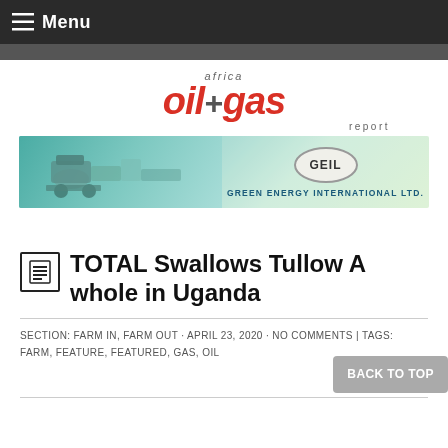Menu
[Figure (logo): Africa Oil+Gas Report logo with red italic text]
[Figure (photo): Green Energy International Ltd. (GEIL) banner advertisement with machinery image on left and GEIL logo on right]
TOTAL Swallows Tullow A whole in Uganda
SECTION: FARM IN, FARM OUT · APRIL 23, 2020 · NO COMMENTS | TAGS: FARM, FEATURE, FEATURED, GAS, OIL